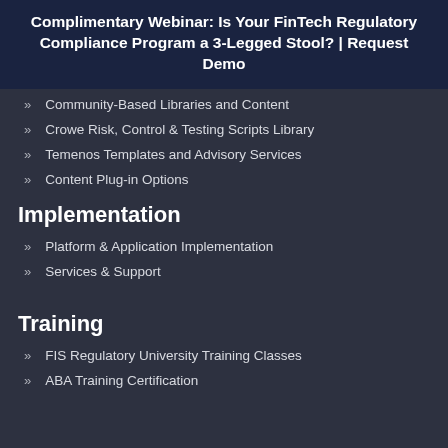Complimentary Webinar: Is Your FinTech Regulatory Compliance Program a 3-Legged Stool? | Request Demo
Community-Based Libraries and Content
Crowe Risk, Control & Testing Scripts Library
Temenos Templates and Advisory Services
Content Plug-in Options
Implementation
Platform & Application Implementation
Services & Support
Training
FIS Regulatory University Training Classes
ABA Training Certification